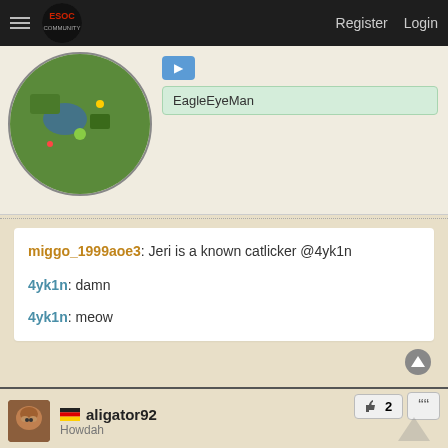ESOC Community   Register   Login
[Figure (screenshot): Game map minimap preview and EagleEyeMan user area with blue button and green highlighted username box]
miggo_1999aoe3: Jeri is a known catlicker @4yk1n

4yk1n: damn

4yk1n: meow
👍 2
[Figure (photo): Avatar photo of aligator92 - an orangutan]
🇩🇪 aligator92
Howdah
Re: [Cheater in QS]
21 Aug 2021, 20:41
not the kind of deck I would want to lose to